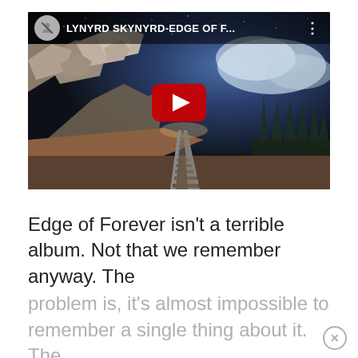[Figure (screenshot): YouTube video thumbnail showing a railroad track stretching into the distance under a dark starry/cloudy sky, with rocky terrain on the left and forest on the right. The video is titled 'LYNYRD SKYNYRD-EDGE OF F...' with a YouTube play button overlay and a user avatar icon in the top left.]
Edge of Forever isn't a terrible album. Not that we remember anyway. The problem is, it's almost impossible to remember a single thing about it. The